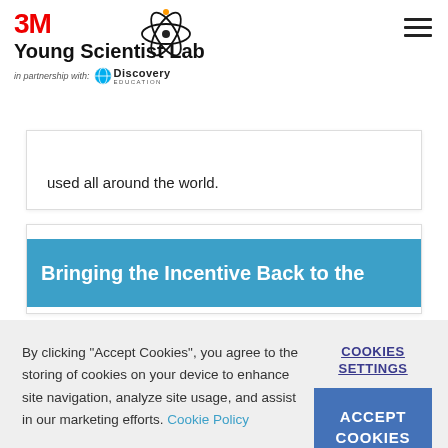3M Young Scientist Lab in partnership with Discovery Education
used all around the world.
Bringing the Incentive Back to the
By clicking "Accept Cookies", you agree to the storing of cookies on your device to enhance site navigation, analyze site usage, and assist in our marketing efforts. Cookie Policy